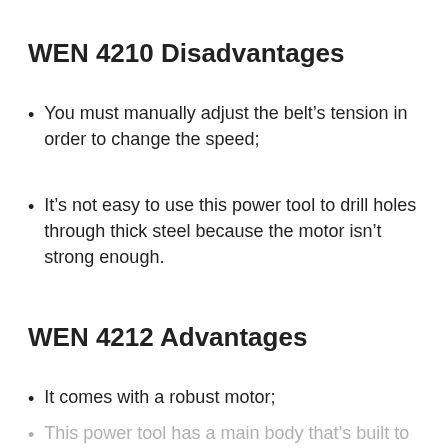WEN 4210 Disadvantages
You must manually adjust the belt's tension in order to change the speed;
It's not easy to use this power tool to drill holes through thick steel because the motor isn't strong enough.
WEN 4212 Advantages
It comes with a robust motor;
This power tool has a main body that's built to last a long time;